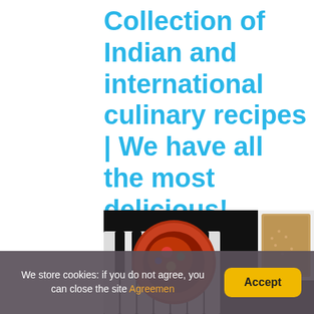Collection of Indian and international culinary recipes | We have all the most delicious!
[Figure (photo): Food photo showing a colorful plate with Indian food and a bowl of grain/rice on a dark piano keys background]
We store cookies: if you do not agree, you can close the site Agreemen